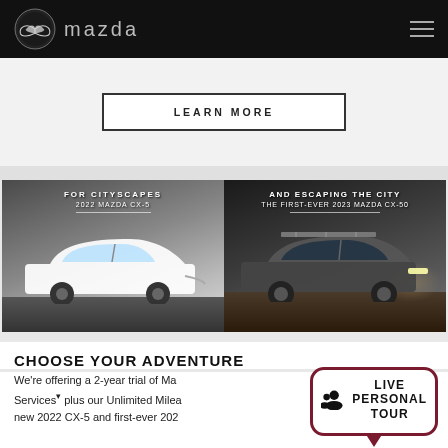Mazda
LEARN MORE
[Figure (photo): Split banner showing two Mazda SUVs: left side shows 2022 Mazda CX-5 (white) with text 'FOR CITYSCAPES / 2022 MAZDA CX-5', right side shows first-ever 2023 Mazda CX-50 (dark) with text 'AND ESCAPING THE CITY / THE FIRST-EVER 2023 MAZDA CX-50']
CHOOSE YOUR ADVENTURE
We're offering a 2-year trial of Ma... Services▾ plus our Unlimited Milea... new 2022 CX-5 and first-ever 202...
LIVE PERSONAL TOUR